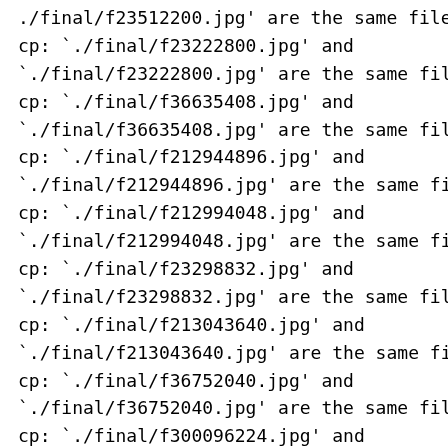./final/f23512200.jpg' are the same file
cp: `./final/f23222800.jpg' and
`./final/f23222800.jpg' are the same file
cp: `./final/f36635408.jpg' and
`./final/f36635408.jpg' are the same file
cp: `./final/f212944896.jpg' and
`./final/f212944896.jpg' are the same file
cp: `./final/f212994048.jpg' and
`./final/f212994048.jpg' are the same file
cp: `./final/f23298832.jpg' and
`./final/f23298832.jpg' are the same file
cp: `./final/f213043640.jpg' and
`./final/f213043640.jpg' are the same file
cp: `./final/f36752040.jpg' and
`./final/f36752040.jpg' are the same file
cp: `./final/f300096224.jpg' and
`./final/f300096224.jpg' are the same file